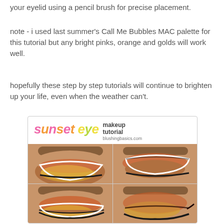your eyelid using a pencil brush for precise placement.
note - i used last summer's Call Me Bubbles MAC palette for this tutorial but any bright pinks, orange and golds will work well.
hopefully these step by step tutorials will continue to brighten up your life, even when the weather can't.
[Figure (illustration): Sunset eye makeup tutorial image card showing four eye images in a 2x2 grid with white outline overlays showing makeup placement zones. Header text reads 'sunset eye makeup tutorial' from blushingbasics.com]